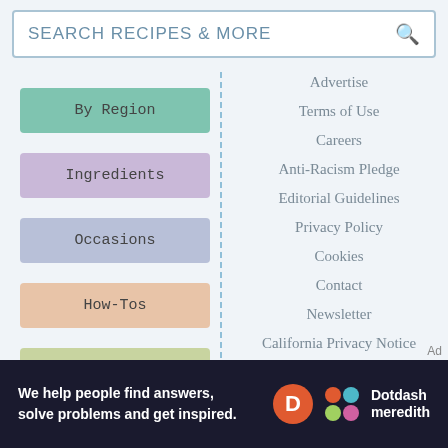SEARCH RECIPES & MORE
By Region
Ingredients
Occasions
How-Tos
What To Buy
Advertise
Terms of Use
Careers
Anti-Racism Pledge
Editorial Guidelines
Privacy Policy
Cookies
Contact
Newsletter
California Privacy Notice
Do Not Sell My Personal Information
We help people find answers, solve problems and get inspired. Dotdash meredith